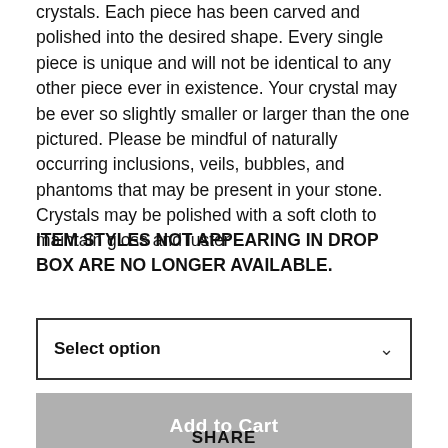crystals. Each piece has been carved and polished into the desired shape. Every single piece is unique and will not be identical to any other piece ever in existence. Your crystal may be ever so slightly smaller or larger than the one pictured. Please be mindful of naturally occurring inclusions, veils, bubbles, and phantoms that may be present in your stone. Crystals may be polished with a soft cloth to maintain gloss and luster .
ITEM STYLES NOT APPEARING IN DROP BOX ARE NO LONGER AVAILABLE.
Select option
Add to Cart
SHARE